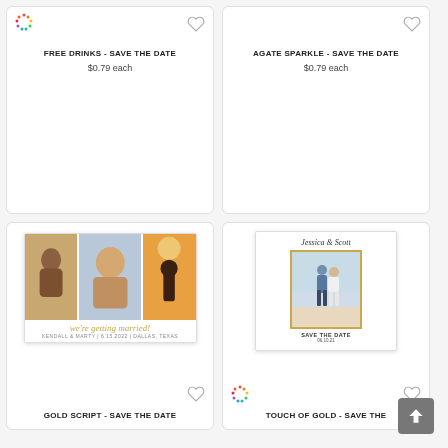[Figure (screenshot): Top-left product card: FREE DRINKS - SAVE THE DATE card, showing color palette dots icon, heart icon, price $0.79 each]
FREE DRINKS - SAVE THE DATE
$0.79 each
[Figure (screenshot): Top-right product card: AGATE SPARKLE - SAVE THE DATE card, showing heart icon, price $0.79 each]
AGATE SPARKLE - SAVE THE DATE
$0.79 each
[Figure (photo): Bottom-left product card: GOLD SCRIPT - SAVE THE DATE card showing three photos of couples with script text 'we're getting married' and KENDALL & MARTY details]
GOLD SCRIPT - SAVE THE DATE
[Figure (photo): Bottom-right product card: TOUCH OF GOLD - SAVE THE DATE card showing couple walking on beach in gold-bordered photo, with 'Jessica & Scott' names, SAVE THE DATE 06.10.21]
TOUCH OF GOLD - SAVE THE